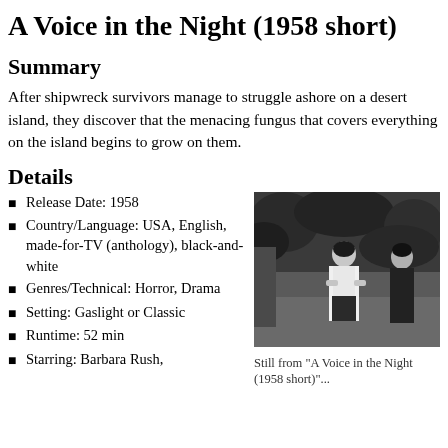A Voice in the Night (1958 short)
Summary
After shipwreck survivors manage to struggle ashore on a desert island, they discover that the menacing fungus that covers everything on the island begins to grow on them.
Details
Release Date: 1958
Country/Language: USA, English, made-for-TV (anthology), black-and-white
Genres/Technical: Horror, Drama
Setting: Gaslight or Classic
Runtime: 52 min
Starring: Barbara Rush,
[Figure (photo): Black and white still from A Voice in the Night (1958 short) showing a woman and man standing outdoors with foliage in background]
Still from "A Voice in the Night (1958 short)"...